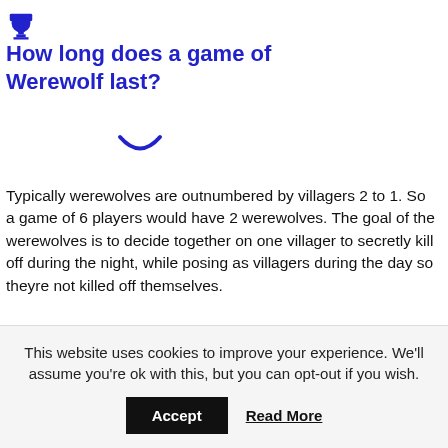🏆 How long does a game of Werewolf last?
Typically werewolves are outnumbered by villagers 2 to 1. So a game of 6 players would have 2 werewolves. The goal of the werewolves is to decide together on one villager to secretly kill off during the night, while posing as villagers during the day so theyre not killed off themselves.
How do you beat the werewolf game?
This website uses cookies to improve your experience. We'll assume you're ok with this, but you can opt-out if you wish. Accept Read More